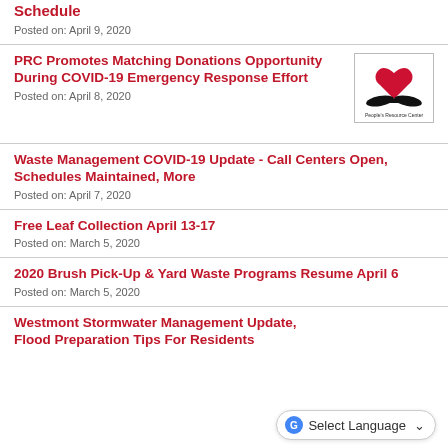Schedule
Posted on: April 9, 2020
PRC Promotes Matching Donations Opportunity During COVID-19 Emergency Response Effort
Posted on: April 8, 2020
[Figure (logo): People's Resource Center logo with hands and heart]
Waste Management COVID-19 Update - Call Centers Open, Schedules Maintained, More
Posted on: April 7, 2020
Free Leaf Collection April 13-17
Posted on: March 5, 2020
2020 Brush Pick-Up & Yard Waste Programs Resume April 6
Posted on: March 5, 2020
Westmont Stormwater Management Update, Flood Preparation Tips For Residents